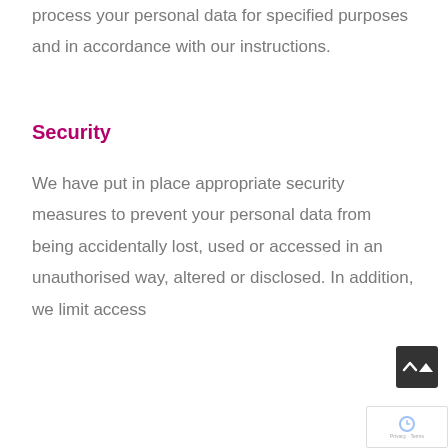process your personal data for specified purposes and in accordance with our instructions.
Security
We have put in place appropriate security measures to prevent your personal data from being accidentally lost, used or accessed in an unauthorised way, altered or disclosed. In addition, we limit access